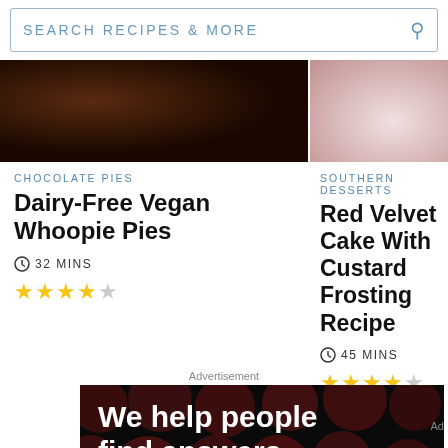SEARCH RECIPES & MORE
[Figure (photo): Partial image of chocolate whoopie pies, dark brown background]
[Figure (photo): Partial image of red velvet cake slice with berries on white plate]
CHOCOLATE PIES
Dairy-Free Vegan Whoopie Pies
32 MINS
★★★★☆
SOUTHERN DESSERTS
Red Velvet Cake With Custard Frosting Recipe
45 MINS
★★★★☆
Advertisement
[Figure (infographic): Advertisement banner: black background with dark red dot pattern, bold white text reading 'We help people find answers, solve problems and get inspired.' with red period. Footer: 'We help people find answers, solve problems and get inspired.' with Dotdash Meredith logo.]